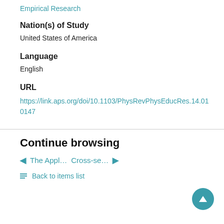Empirical Research
Nation(s) of Study
United States of America
Language
English
URL
https://link.aps.org/doi/10.1103/PhysRevPhysEducRes.14.010147
Continue browsing
The Appl... Cross-se...
Back to items list